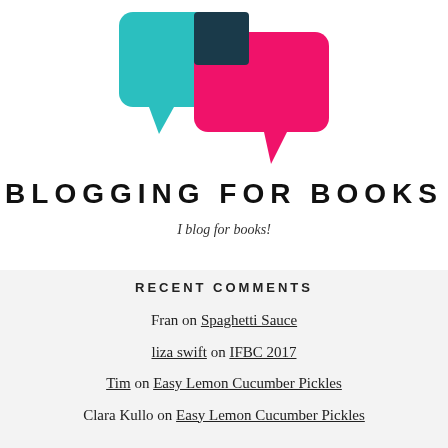[Figure (logo): Blogging for Books logo: two overlapping speech bubbles, one teal/cyan and one hot pink, with a dark teal square overlap]
BLOGGING FOR BOOKS
I blog for books!
RECENT COMMENTS
Fran on Spaghetti Sauce
liza swift on IFBC 2017
Tim on Easy Lemon Cucumber Pickles
Clara Kullo on Easy Lemon Cucumber Pickles